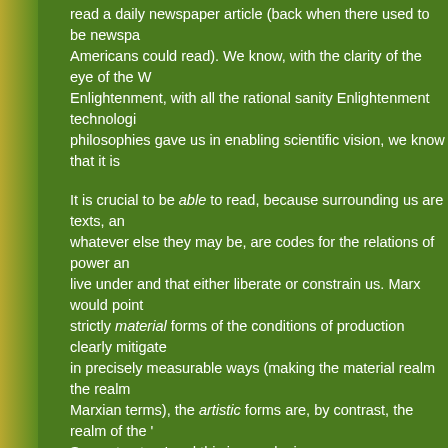read a daily newspaper article (back when there used to be newspapers Americans could read). We know, with the clarity of the eye of the W Enlightenment, with all the rational sanity Enlightenment technologi philosophies gave us in enabling scientific vision, we know that it is
It is crucial to be able to read, because surrounding us are texts, an whatever else they may be, are codes for the relations of power an live under and that either liberate or constrain us. Marx would point strictly material forms of the conditions of production clearly mitigate in precisely measurable ways (making the material realm the realm Marxian terms), the artistic forms are, by contrast, the realm of the ' Superstructure' and this is a realm in many ways seemingly invisibl necessary to be literate, to be able to read, if one is to become cons forms, of these forces, of that realm. Assuming that there is in fact c forces of power that coerce, and the masses who are the victims of ability to read is the ability to become aware of that conflict and to th self, or to perhaps even engage in battle. Or as Marx says, to beco ideological realm is to confront the forms "in which men become co conflict and fight it out."
Art, therefore, is one of the forms that ideology takes, most especia popular art forms, such as music videos. songs, books, paintings, T Cinema, television, theater, The Operas, dance, commercials and o